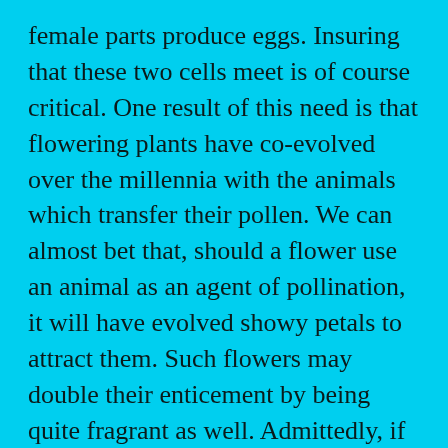female parts produce eggs. Insuring that these two cells meet is of course critical. One result of this need is that flowering plants have co-evolved over the millennia with the animals which transfer their pollen. We can almost bet that, should a flower use an animal as an agent of pollination, it will have evolved showy petals to attract them. Such flowers may double their enticement by being quite fragrant as well. Admittedly, if the flower happens to be pollinated by flies, this fragrance may be that of decay. But the point is that flowers often flamboyantly advertise their presence if pollinated by animals. Daytime pollinators, such as butterflies and birds are highly attuned to red. Thus it is no surprise that we see so